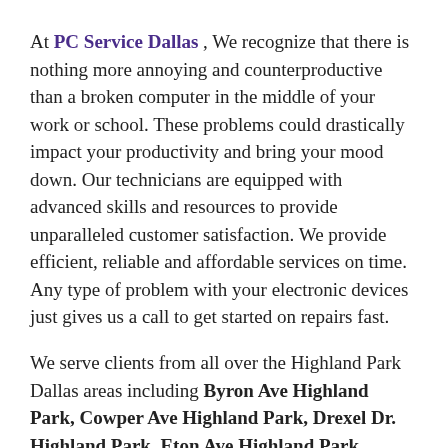At PC Service Dallas , We recognize that there is nothing more annoying and counterproductive than a broken computer in the middle of your work or school. These problems could drastically impact your productivity and bring your mood down. Our technicians are equipped with advanced skills and resources to provide unparalleled customer satisfaction. We provide efficient, reliable and affordable services on time. Any type of problem with your electronic devices just gives us a call to get started on repairs fast.
We serve clients from all over the Highland Park Dallas areas including Byron Ave Highland Park, Cowper Ave Highland Park, Drexel Dr. Highland Park, Eton Ave Highland Park, Fairfield Ave Highland Park, Highland Dr. Highland Park,